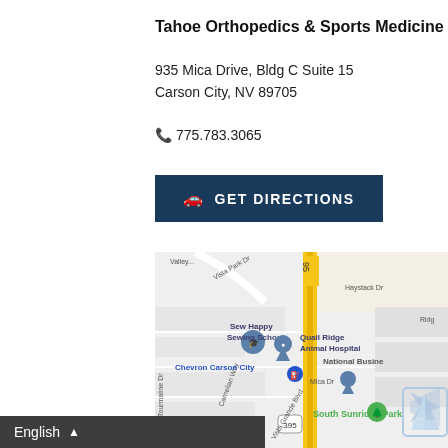Tahoe Orthopedics & Sports Medicine
935 Mica Drive, Bldg C Suite 15
Carson City, NV 89705
📞 775.783.3065
🚗 GET DIRECTIONS
[Figure (map): Google Maps view showing the area around 935 Mica Drive, Carson City, NV including nearby landmarks: Sew Happy Sewing School, Quail Ridge Animal Hospital, Chevron Carson City, National Business, South Sunridge Park, route 95 and 395.]
English ▲